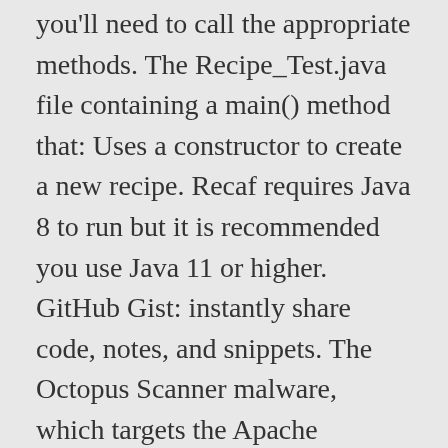you'll need to call the appropriate methods. The Recipe_Test.java file containing a main() method that: Uses a constructor to create a new recipe. Recaf requires Java 8 to run but it is recommended you use Java 11 or higher. GitHub Gist: instantly share code, notes, and snippets. The Octopus Scanner malware, which targets the Apache NetBeans Java integrated development environment (IDE), has been nesting in at least 26 GitHub ... Rebel is a Java code generation plugin for StarUML, a sophisticated software modeler for agile and concise modeling. Looking for some help on a project where I need to make a recipe book with the follow features: 1. add a recipe 2. list all recipes 3. display a single recipe 4. We'll add